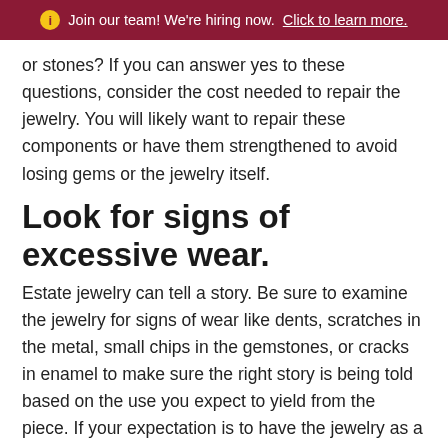ℹ Join our team! We're hiring now. Click to learn more.
or stones? If you can answer yes to these questions, consider the cost needed to repair the jewelry. You will likely want to repair these components or have them strengthened to avoid losing gems or the jewelry itself.
Look for signs of excessive wear.
Estate jewelry can tell a story. Be sure to examine the jewelry for signs of wear like dents, scratches in the metal, small chips in the gemstones, or cracks in enamel to make sure the right story is being told based on the use you expect to yield from the piece. If your expectation is to have the jewelry as a piece that will not be worn, only collected, excessive wear may not be as big a factor in your purchasing decision.